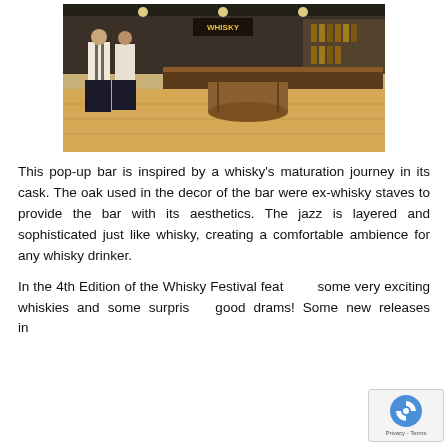[Figure (photo): Interior of a whisky bar or shop with staff in white shirts and dark trousers standing near a bar counter. Wooden barrels and shelves with whisky bottles visible in the background. Bright overhead lighting.]
This pop-up bar is inspired by a whisky's maturation journey in its cask. The oak used in the decor of the bar were ex-whisky staves to provide the bar with its aesthetics. The jazz is layered and sophisticated just like whisky, creating a comfortable ambience for any whisky drinker.
In the 4th Edition of the Whisky Festival featuring some very exciting whiskies and some surprising good drams! Some new releases include